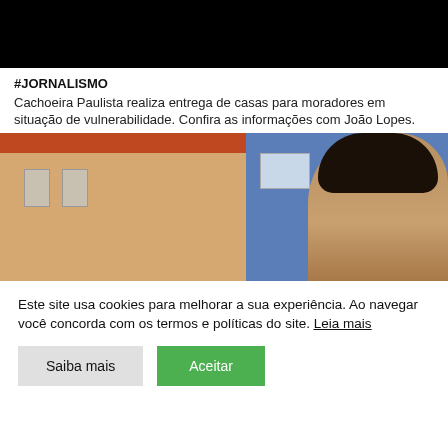[Figure (photo): Black bar at top of page, partially obscured video thumbnail]
#JORNALISMO
Cachoeira Paulista realiza entrega de casas para moradores em situação de vulnerabilidade. Confira as informações com João Lopes.
[Figure (photo): Video thumbnail showing a young man with curly hair and glasses speaking in front of colorful houses (brown/orange and blue walls)]
Este site usa cookies para melhorar a sua experiência. Ao navegar você concorda com os termos e políticas do site. Leia mais
Saiba mais
Aceitar